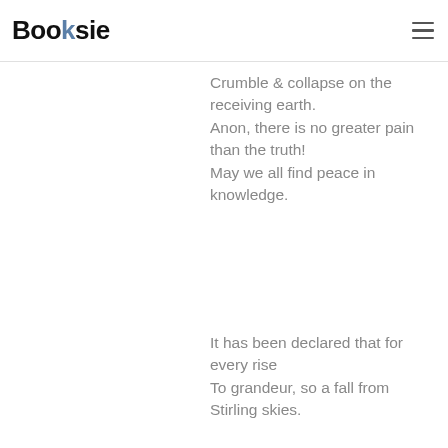Booksie
Crumble & collapse on the receiving earth.
Anon, there is no greater pain than the truth!
May we all find peace in knowledge.
It has been declared that for every rise
To grandeur, so a fall from Stirling skies.